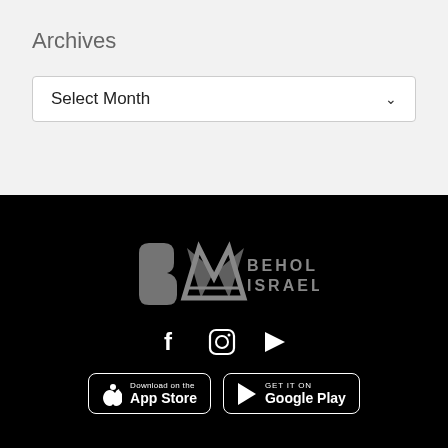Archives
Select Month
[Figure (logo): Behold Israel logo — stylized BI monogram in grey with text BEHOLD ISRAEL]
[Figure (infographic): Social media icons: Facebook, Instagram, YouTube]
[Figure (infographic): App store badges: Download on the App Store, Get it on Google Play]